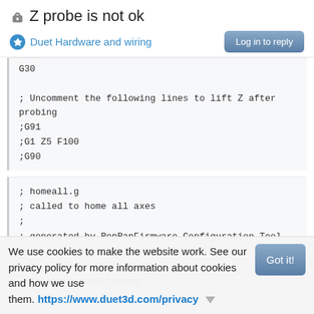Z probe is not ok
Duet Hardware and wiring
G30
; Uncomment the following lines to lift Z after probing
;G91
;G1 Z5 F100
;G90
; homeall.g
; called to home all axes
;
; generated by RepRapFirmware Configuration Tool on Sat Apr 22 2017 19:59:56 GMT+0200
; Relative positioning
; Lift Z
We use cookies to make the website work. See our privacy policy for more information about cookies and how we use them. https://www.duet3d.com/privacy